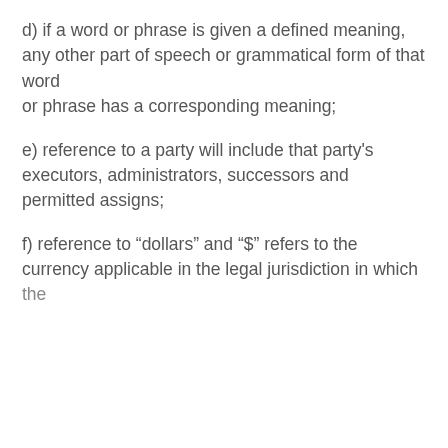d) if a word or phrase is given a defined meaning, any other part of speech or grammatical form of that word or phrase has a corresponding meaning;
e) reference to a party will include that party's executors, administrators, successors and permitted assigns;
f) reference to “dollars” and “$” refers to the currency applicable in the legal jurisdiction in which the
[Figure (screenshot): Cookie consent banner overlay with dark background, showing cookie usage message, a circular X button, a chat bubble saying 'Curious to know how our EHS solution can enhance your operation?', and an avatar with a red notification badge showing 1.]